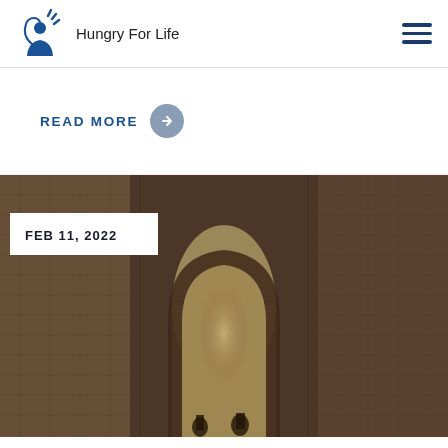Hungry For Life
READ MORE
[Figure (photo): Ancient stone archway with brick columns and ruined facade, people visible at bottom]
FEB 11, 2022